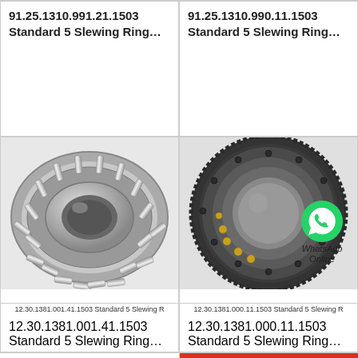91.25.1310.991.21.1503 Standard 5 Slewing Ring...
91.25.1310.990.11.1503 Standard 5 Slewing Ring...
[Figure (photo): Cylindrical roller slewing ring bearing, large format, silver metallic finish]
12.30.1381.001.41.1503 Standard 5 Slewing R
[Figure (photo): Slewing ring bearing with external gear teeth, black finish, with WhatsApp Online logo overlay]
12.30.1381.000.11.1503 Standard 5 Slewing R
12.30.1381.001.41.1503 Standard 5 Slewing Ring...
12.30.1381.000.11.1503 Standard 5 Slewing Ring...
All Products
Contact Now